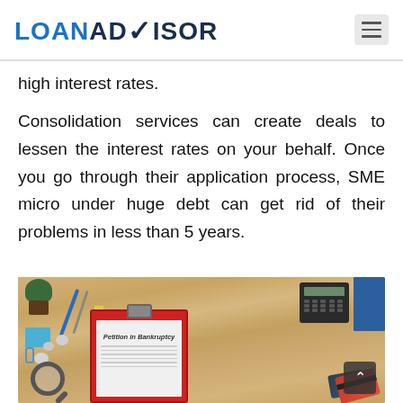LOANADVISOR
high interest rates.
Consolidation services can create deals to lessen the interest rates on your behalf. Once you go through their application process, SME micro under huge debt can get rid of their problems in less than 5 years.
[Figure (photo): Desktop scene with a wooden table showing a red clipboard with a 'Petition in Bankruptcy' document, a magnifying glass, calculator, blue notebook, pencil, pen, plant, sticky notes, crumpled papers, and credit cards.]